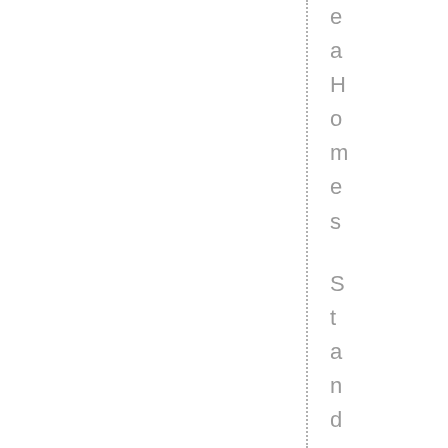[Figure (other): Vertical dotted line running from top to bottom of page at approximately x=306px, with vertically stacked characters reading 'eaHomes StandardPacificHo' along the right side, forming part of a rotated/vertical watermark or tab label for 'Sea Homes Standard Pacific Ho[mes]']